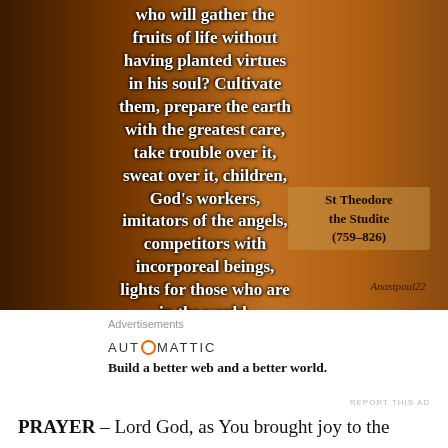[Figure (photo): A dark warm-toned background resembling aged wood or leather, with white bold text overlaid showing a quote about gathering fruits of life, cultivating virtues, and being lights for the world. Attribution to St Theodore the Studite (759-826) appears in the lower right.]
Advertisements
AUTOMATTIC
Build a better web and a better world.
REPORT THIS AD
PRAYER – Lord God, as You brought joy to the